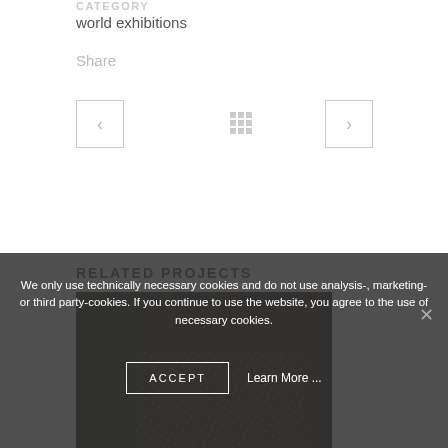CATEGORY
world exhibitions
Share
[Figure (other): Navigation buttons: left arrow, grid icon, right arrow]
RELATED PROJECTS
[Figure (photo): Dark textured background image, partial view]
We only use technically necessary cookies and do not use analysis-, marketing- or third party-cookies. If you continue to use the website, you agree to the use of necessary cookies.
ACCEPT
Learn More ...